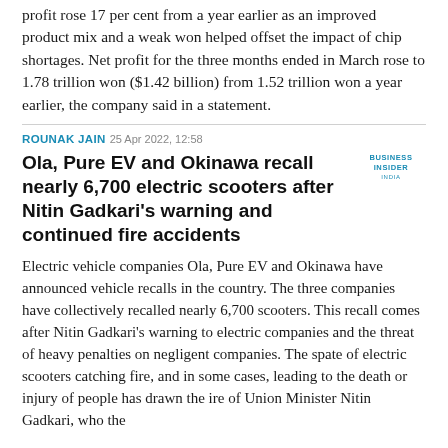profit rose 17 per cent from a year earlier as an improved product mix and a weak won helped offset the impact of chip shortages. Net profit for the three months ended in March rose to 1.78 trillion won ($1.42 billion) from 1.52 trillion won a year earlier, the company said in a statement.
ROUNAK JAIN 25 Apr 2022, 12:58
Ola, Pure EV and Okinawa recall nearly 6,700 electric scooters after Nitin Gadkari's warning and continued fire accidents
[Figure (logo): Business Insider India logo]
Electric vehicle companies Ola, Pure EV and Okinawa have announced vehicle recalls in the country. The three companies have collectively recalled nearly 6,700 scooters. This recall comes after Nitin Gadkari's warning to electric companies and the threat of heavy penalties on negligent companies. The spate of electric scooters catching fire, and in some cases, leading to the death or injury of people has drawn the ire of Union Minister Nitin Gadkari, who the